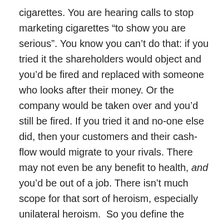cigarettes. You are hearing calls to stop marketing cigarettes “to show you are serious”. You know you can’t do that: if you tried it the shareholders would object and you’d be fired and replaced with someone who looks after their money. Or the company would be taken over and you’d still be fired. If you tried it and no-one else did, then your customers and their cash-flow would migrate to your rivals. There may not even be any benefit to health, and you’d be out of a job. There isn’t much scope for that sort of heroism, especially unilateral heroism.  So you define the challenge differently: “how do I make the most rapid transition possible, consistent with my duty to protect the interests of shareholders?”  You